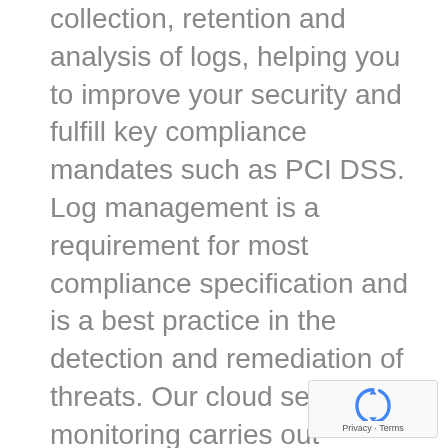collection, retention and analysis of logs, helping you to improve your security and fulfill key compliance mandates such as PCI DSS. Log management is a requirement for most compliance specification and is a best practice in the detection and remediation of threats. Our cloud server monitoring carries out advanced log data analysis to identify and warn you of potential threats to your organization.
[Figure (logo): reCAPTCHA badge with circular arrow logo and Privacy - Terms links]